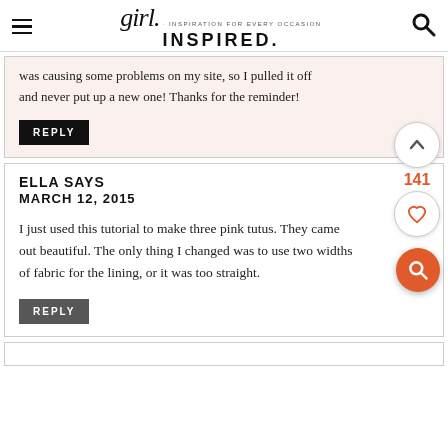girl. INSPIRED. · INSPIRATION FOR EVERY OCCASION
was causing some problems on my site, so I pulled it off and never put up a new one! Thanks for the reminder!
REPLY
ELLA SAYS
MARCH 12, 2015
I just used this tutorial to make three pink tutus. They came out beautiful. The only thing I changed was to use two widths of fabric for the lining, or it was too straight.
141
REPLY